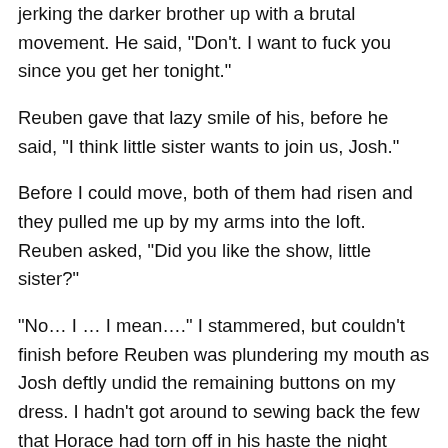jerking the darker brother up with a brutal movement. He said, "Don't. I want to fuck you since you get her tonight."
Reuben gave that lazy smile of his, before he said, "I think little sister wants to join us, Josh."
Before I could move, both of them had risen and they pulled me up by my arms into the loft. Reuben asked, "Did you like the show, little sister?"
"No… I … I mean…." I stammered, but couldn't finish before Reuben was plundering my mouth as Josh deftly undid the remaining buttons on my dress. I hadn't got around to sewing back the few that Horace had torn off in his haste the night before. Warm afternoon air bathed my heavy breasts as both of the boys deftly stripped me